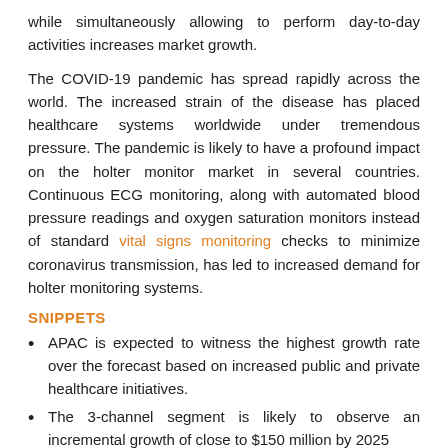while simultaneously allowing to perform day-to-day activities increases market growth.
The COVID-19 pandemic has spread rapidly across the world. The increased strain of the disease has placed healthcare systems worldwide under tremendous pressure. The pandemic is likely to have a profound impact on the holter monitor market in several countries. Continuous ECG monitoring, along with automated blood pressure readings and oxygen saturation monitors instead of standard vital signs monitoring checks to minimize coronavirus transmission, has led to increased demand for holter monitoring systems.
SNIPPETS
APAC is expected to witness the highest growth rate over the forecast based on increased public and private healthcare initiatives.
The 3-channel segment is likely to observe an incremental growth of close to $150 million by 2025